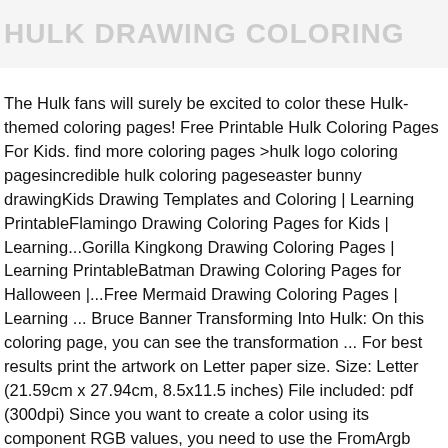HULK DRAWING COLORING
The Hulk fans will surely be excited to color these Hulk-themed coloring pages! Free Printable Hulk Coloring Pages For Kids. find more coloring pages >hulk logo coloring pagesincredible hulk coloring pageseaster bunny drawingKids Drawing Templates and Coloring | Learning PrintableFlamingo Drawing Coloring Pages for Kids | Learning...Gorilla Kingkong Drawing Coloring Pages | Learning PrintableBatman Drawing Coloring Pages for Halloween |...Free Mermaid Drawing Coloring Pages | Learning ... Bruce Banner Transforming Into Hulk: On this coloring page, you can see the transformation ... For best results print the artwork on Letter paper size. Size: Letter (21.59cm x 27.94cm, 8.5x11.5 inches) File included: pdf (300dpi) Since you want to create a color using its component RGB values, you need to use the FromArgb method: Showing 12